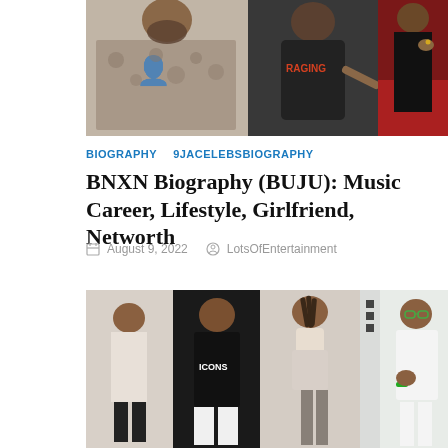[Figure (photo): Collage of two people: left side shows a person in a patterned white shirt, center shows a person in a dark hoodie with 'RAGING' text pointing, right side shows a person in black outfit on red carpet background.]
BIOGRAPHY
9JACELEBSBIOGRAPHY
BNXN Biography (BUJU): Music Career, Lifestyle, Girlfriend, Networth
August 9, 2022   LotsOfEntertainment
[Figure (photo): Collage of multiple photos of BNXN (Buju): left shows two poses in black outfit with ICONS text and white pants, center shows person in pink/beige outfit, right shows person in white outfit with green accents and glasses.]